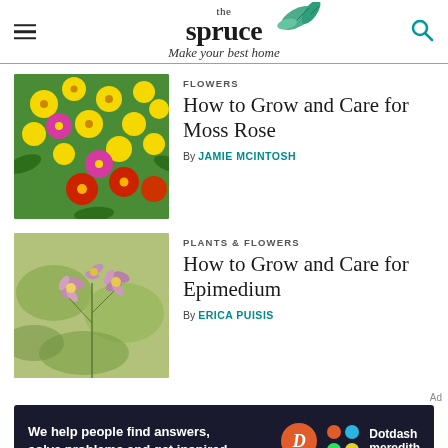[Figure (logo): The Spruce logo with leaf decoration and tagline 'Make your best home']
FLOWERS
How to Grow and Care for Moss Rose
By JAMIE MCINTOSH
[Figure (photo): Colorful moss rose flowers — yellow, pink, and red blooms against green foliage]
PLANTS & FLOWERS
How to Grow and Care for Epimedium
By ERICA PUISIS
[Figure (photo): Epimedium plant with small pink and yellow flowers on delicate stems with soft green leaves]
Ad
[Figure (infographic): Dotdash Meredith advertisement banner: 'We help people find answers, solve problems and get inspired.' with Dotdash Meredith logos]